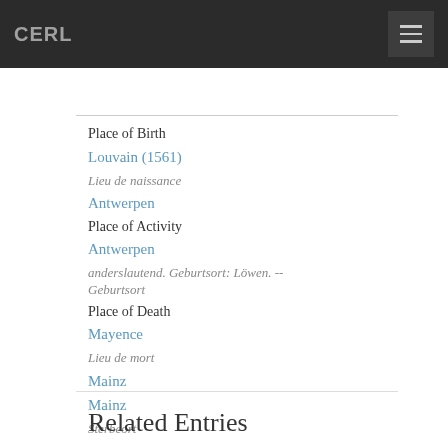CERL
Place of Birth
Louvain (1561)
Lieu de naissance
Antwerpen
Place of Activity
Antwerpen
anderslautend. Geburtsort: Löwen. -- Geburtsort
Place of Death
Mayence
Lieu de mort
Mainz
Mainz
Sterbeort
Related Entries